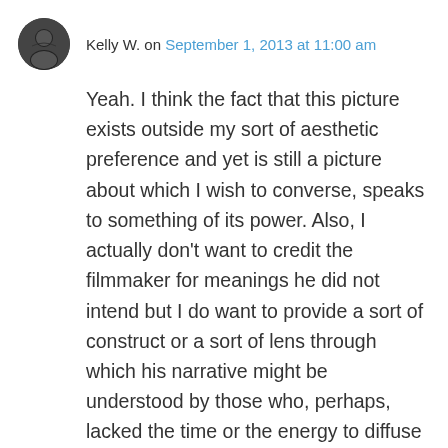Kelly W. on September 1, 2013 at 11:00 am
Yeah. I think the fact that this picture exists outside my sort of aesthetic preference and yet is still a picture about which I wish to converse, speaks to something of its power. Also, I actually don't want to credit the filmmaker for meanings he did not intend but I do want to provide a sort of construct or a sort of lens through which his narrative might be understood by those who, perhaps, lacked the time or the energy to diffuse their own confusions. I would hope that, in any attempt, justice is done to the filmmaker (which is not to say one must tie him or herself to the intentions of the filmmaker but it is to say that one should distinguish between one's own